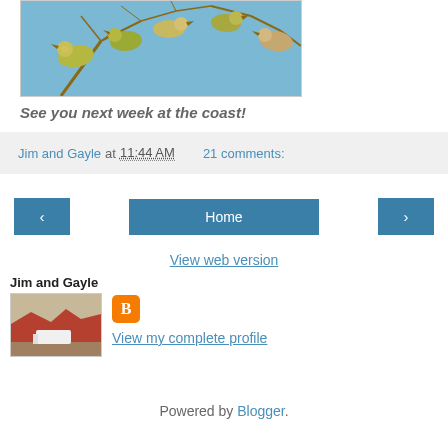[Figure (photo): Photo of cedar waxwing birds perched on bare tree branches against a blue sky]
See you next week at the coast!
Jim and Gayle at 11:44 AM   21 comments:
‹  Home  ›
View web version
Jim and Gayle
[Figure (photo): Small profile thumbnail photo of a desert landscape with a white RV]
[Figure (logo): Blogger orange square B logo icon]
View my complete profile
Powered by Blogger.